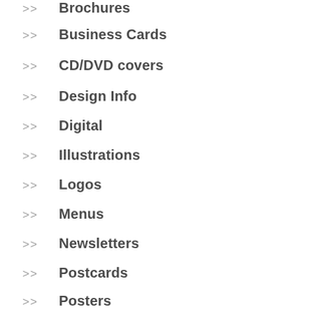>> Brochures
>> Business Cards
>> CD/DVD covers
>> Design Info
>> Digital
>> Illustrations
>> Logos
>> Menus
>> Newsletters
>> Postcards
>> Posters